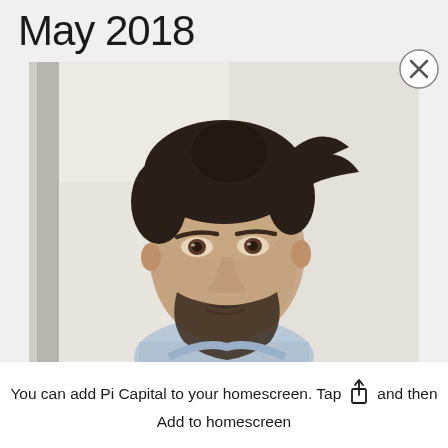May 2018
[Figure (photo): Portrait photo of a man with dark hair, beard, and a light blue shirt, against a light background]
You can add Pi Capital to your homescreen. Tap [share icon] and then Add to homescreen